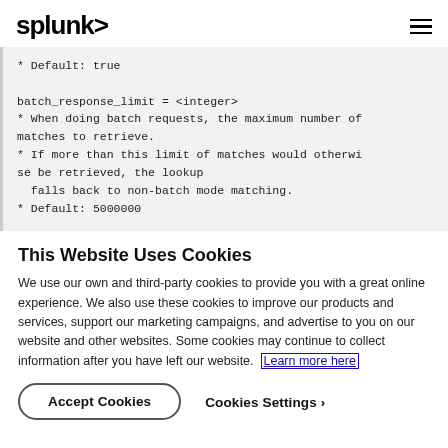splunk>
* Default: true

batch_response_limit = <integer>
* When doing batch requests, the maximum number of matches to retrieve.
* If more than this limit of matches would otherwise be retrieved, the lookup
  falls back to non-batch mode matching.
* Default: 5000000
This Website Uses Cookies
We use our own and third-party cookies to provide you with a great online experience. We also use these cookies to improve our products and services, support our marketing campaigns, and advertise to you on our website and other websites. Some cookies may continue to collect information after you have left our website. Learn more here
Accept Cookies
Cookies Settings ›